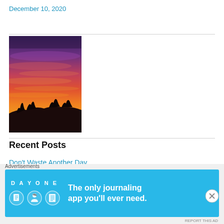December 10, 2020
[Figure (photo): A vivid sunset photo showing a sky with deep purple, pink, red and orange streaks, with dark tree silhouettes on a hillside at the bottom.]
Recent Posts
Don't Waste Another Day
Advertisements
[Figure (infographic): Day One journaling app advertisement banner with blue background, app logo icons, and text: The only journaling app you'll ever need.]